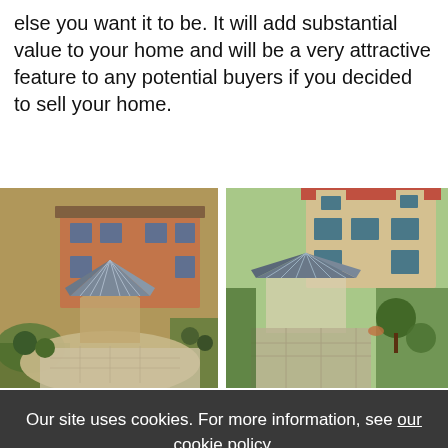else you want it to be. It will add substantial value to your home and will be a very attractive feature to any potential buyers if you decided to sell your home.
[Figure (photo): Aerial view of a brick house with a grey octagonal conservatory/orangery extension, surrounded by a paved patio and garden]
[Figure (photo): Aerial view of a light stone house with a grey pyramid-roof conservatory extension, showing a garden and courtyard]
Our site uses cookies. For more information, see our cookie policy.
Accept cookies and close
Reject cookies
Manage settings